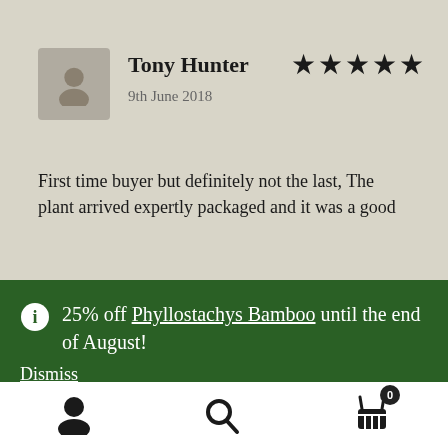[Figure (illustration): User avatar placeholder icon — grey square with silhouette]
Tony Hunter
9th June 2018
[Figure (other): 5 black star rating icons]
First time buyer but definitely not the last, The plant arrived expertly packaged and it was a good
25% off Phyllostachys Bamboo until the end of August!
Dismiss
[Figure (illustration): Bottom navigation bar with user icon, search icon, and shopping cart with badge showing 0]